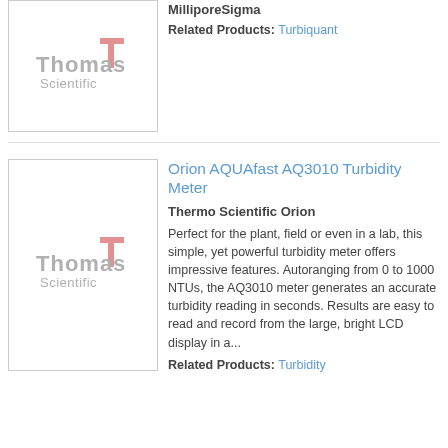[Figure (logo): Thomas Scientific logo placeholder in product image box]
MilliporeSigma
Related Products: Turbiquant
[Figure (logo): Thomas Scientific logo placeholder in product image box]
Orion AQUAfast AQ3010 Turbidity Meter
Thermo Scientific Orion
Perfect for the plant, field or even in a lab, this simple, yet powerful turbidity meter offers impressive features. Autoranging from 0 to 1000 NTUs, the AQ3010 meter generates an accurate turbidity reading in seconds. Results are easy to read and record from the large, bright LCD display in a...
Related Products: Turbidity